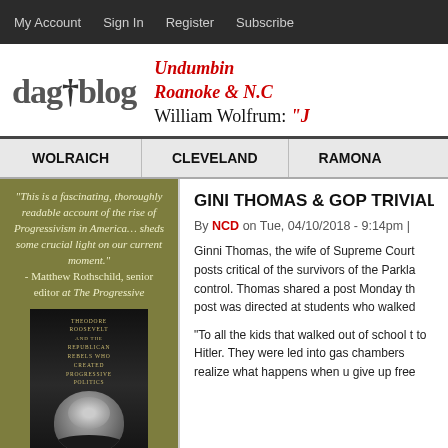My Account  Sign In  Register  Subscribe
dagtblog — Undumbing Roanoke & N.C. William Wolfrum: "J
WOLRAICH   CLEVELAND   RAMONA
[Figure (illustration): Book advertisement sidebar with olive/green background. Quote: "This is a fascinating, thoroughly readable account of the rise of Progressivism in America... sheds some crucial light on our current moment." - Matthew Rothschild, senior editor at The Progressive. Below is an image of the book cover 'Unreasonable Men' featuring Theodore Roosevelt.]
GINI THOMAS & GOP TRIVIAL
By NCD on Tue, 04/10/2018 - 9:14pm |
Ginni Thomas, the wife of Supreme Court posts critical of the survivors of the Parkla control. Thomas shared a post Monday th post was directed at students who walked
"To all the kids that walked out of school t to Hitler. They were led into gas chambers realize what happens when u give up free